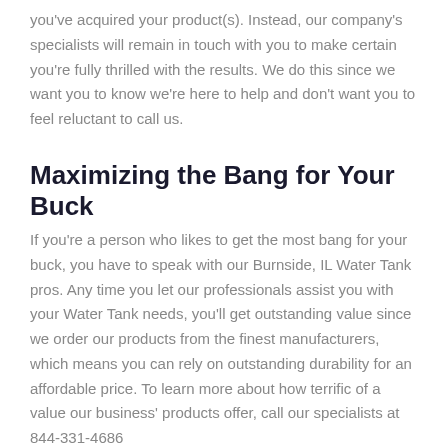you've acquired your product(s). Instead, our company's specialists will remain in touch with you to make certain you're fully thrilled with the results. We do this since we want you to know we're here to help and don't want you to feel reluctant to call us.
Maximizing the Bang for Your Buck
If you're a person who likes to get the most bang for your buck, you have to speak with our Burnside, IL Water Tank pros. Any time you let our professionals assist you with your Water Tank needs, you'll get outstanding value since we order our products from the finest manufacturers, which means you can rely on outstanding durability for an affordable price. To learn more about how terrific of a value our business' products offer, call our specialists at 844-331-4686